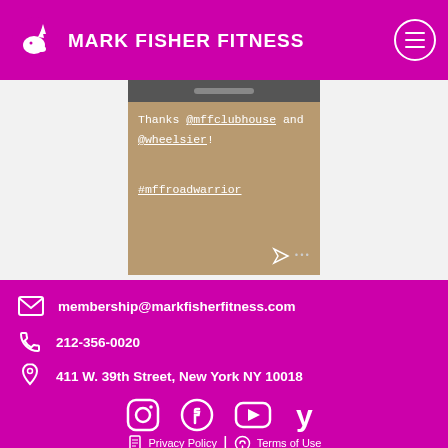MARK FISHER FITNESS
[Figure (screenshot): Instagram story screenshot showing text: 'Thanks @mffclubhouse and @wheelsier! #mffroadwarrior' on a tan/brown background]
membership@markfisherfitness.com
212-356-0020
411 W. 39th Street, New York NY 10018
[Figure (other): Social media icons row: Instagram, Facebook, YouTube, Yelp]
Privacy Policy | Terms of Use